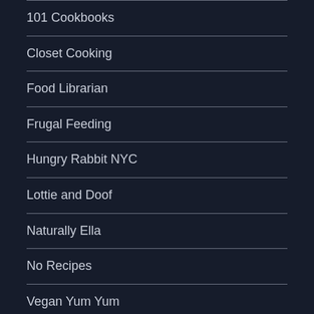101 Cookbooks
Closet Cooking
Food Librarian
Frugal Feeding
Hungry Rabbit NYC
Lottie and Doof
Naturally Ella
No Recipes
Vegan Yum Yum